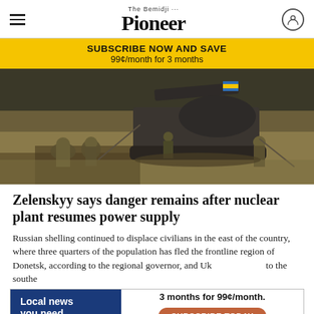The Bemidji Pioneer
SUBSCRIBE NOW AND SAVE
99¢/month for 3 months
[Figure (photo): Military soldiers in camouflage near a tank/self-propelled artillery vehicle in a field with dry grass and trees in the background.]
Zelenskyy says danger remains after nuclear plant resumes power supply
Russian shelling continued to displace civilians in the east of the country, where three quarters of the population has fled the frontline region of Donetsk, according to the regional governor, and Uk... to the southe...
Local news you need.
3 months for 99¢/month.
SUBSCRIBE TODAY